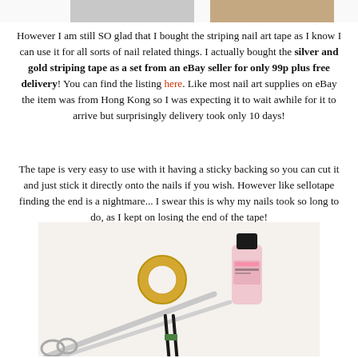[Figure (photo): Partial view of two images at the top of the page, cropped at the top edge.]
However I am still SO glad that I bought the striping nail art tape as I know I can use it for all sorts of nail related things. I actually bought the silver and gold striping tape as a set from an eBay seller for only 99p plus free delivery! You can find the listing here. Like most nail art supplies on eBay the item was from Hong Kong so I was expecting it to wait awhile for it to arrive but surprisingly delivery took only 10 days!
The tape is very easy to use with it having a sticky backing so you can cut it and just stick it directly onto the nails if you wish. However like sellotape finding the end is a nightmare... I swear this is why my nails took so long to do, as I kept on losing the end of the tape!
[Figure (photo): Photo of nail art supplies on a white surface: a roll of gold striping tape, a bottle of pink nail polish, a pair of tweezers/nail tool, and scissors.]